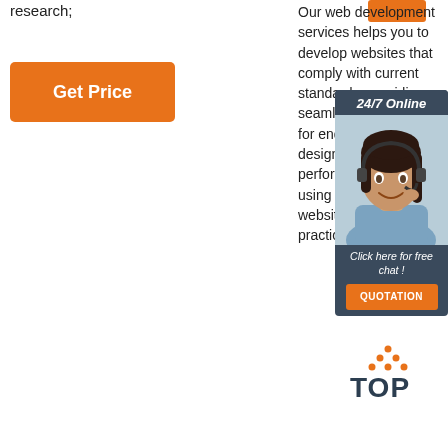research;
[Figure (other): Orange button at top right]
[Figure (other): Get Price orange button]
Our web development services helps you to develop websites that comply with current standards, providing seamless experience for end-users. Our web design creates high performance websites using state-of-art website development practices.
[Figure (other): 24/7 Online chat popup with support agent photo, 'Click here for free chat!' text, and QUOTATION orange button]
[Figure (logo): TOP logo with orange dots forming triangle above TOP text]